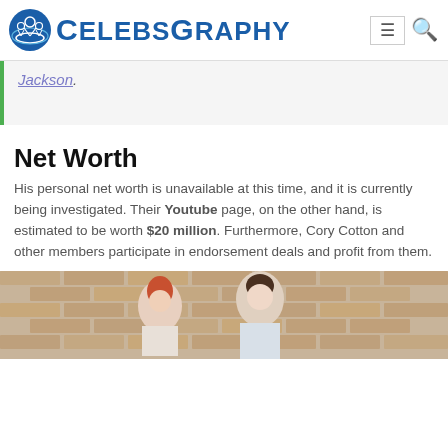CELEBSGRAPHY
Jackson.
Net Worth
His personal net worth is unavailable at this time, and it is currently being investigated. Their Youtube page, on the other hand, is estimated to be worth $20 million. Furthermore, Cory Cotton and other members participate in endorsement deals and profit from them.
[Figure (photo): Photo of a couple (woman with red hair and man with dark hair) standing in front of a brick wall]